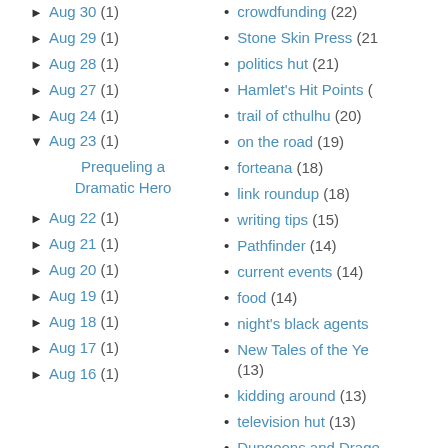► Aug 30 (1)
► Aug 29 (1)
► Aug 28 (1)
► Aug 27 (1)
► Aug 24 (1)
▼ Aug 23 (1)
Prequeling a Dramatic Hero
► Aug 22 (1)
► Aug 21 (1)
► Aug 20 (1)
► Aug 19 (1)
► Aug 18 (1)
► Aug 17 (1)
► Aug 16 (1)
crowdfunding (22)
Stone Skin Press (21)
politics hut (21)
Hamlet's Hit Points (
trail of cthulhu (20)
on the road (19)
forteana (18)
link roundup (18)
writing tips (15)
Pathfinder (14)
current events (14)
food (14)
night's black agents
New Tales of the Ye (13)
kidding around (13)
television hut (13)
Dungeons and Drage